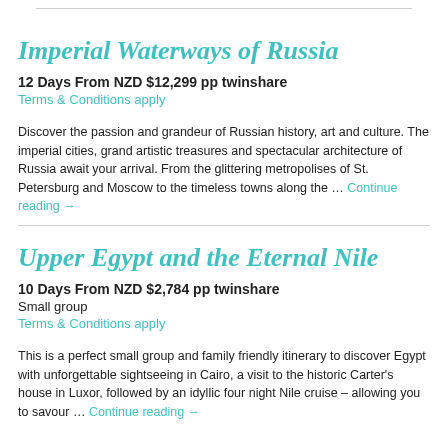Imperial Waterways of Russia
12 Days From NZD $12,299 pp twinshare
Terms & Conditions apply
Discover the passion and grandeur of Russian history, art and culture. The imperial cities, grand artistic treasures and spectacular architecture of Russia await your arrival. From the glittering metropolises of St. Petersburg and Moscow to the timeless towns along the … Continue reading →
Upper Egypt and the Eternal Nile
10 Days From NZD $2,784 pp twinshare
Small group
Terms & Conditions apply
This is a perfect small group and family friendly itinerary to discover Egypt with unforgettable sightseeing in Cairo, a visit to the historic Carter's house in Luxor, followed by an idyllic four night Nile cruise – allowing you to savour … Continue reading →